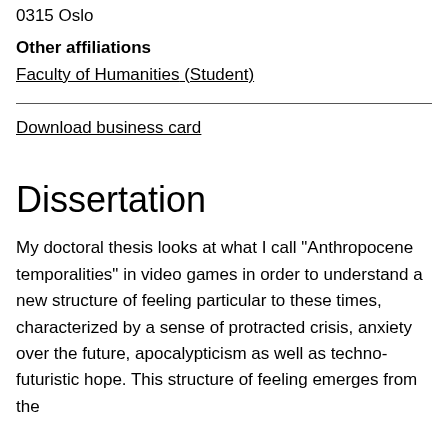0315 Oslo
Other affiliations
Faculty of Humanities (Student)
Download business card
Dissertation
My doctoral thesis looks at what I call "Anthropocene temporalities" in video games in order to understand a new structure of feeling particular to these times, characterized by a sense of protracted crisis, anxiety over the future, apocalypticism as well as techno-futuristic hope. This structure of feeling emerges from the